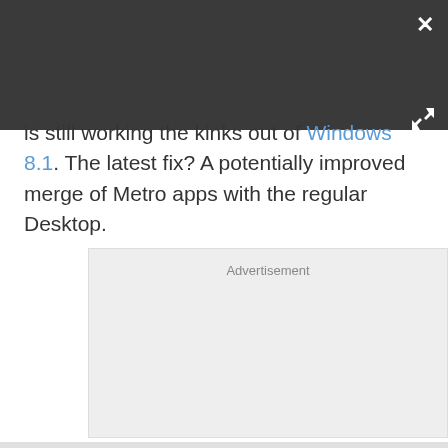[Figure (screenshot): Dark gray overlay/modal header bar with a white X close button in top-right corner and a white expand/fullscreen icon in bottom-right corner]
is still working the kinks out of Windows 8.1. The latest fix? A potentially improved merge of Metro apps with the regular Desktop.
[Figure (other): Advertisement placeholder box with light gray background]